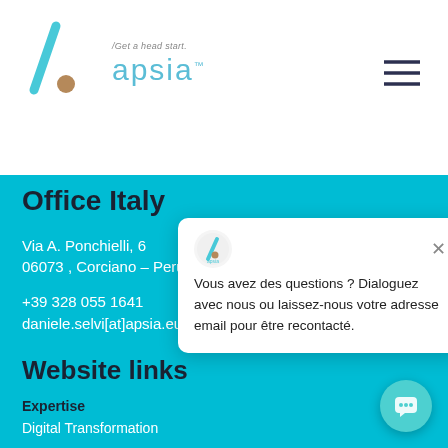[Figure (logo): Apsia company logo with forward slash and dot, teal color, with tagline '/Get a head start.']
[Figure (illustration): Hamburger menu icon (three horizontal dark lines) in top right corner]
Office Italy
Via A. Ponchielli, 6
06073 , Corciano – Perugi...
+39 328 055 1641
daniele.selvi[at]apsia.eu...
Website links
Expertise
Digital Transformation
[Figure (screenshot): Chat popup overlay with Apsia logo icon, close X button, and French text: 'Vous avez des questions ? Dialoguez avec nous ou laissez-nous votre adresse email pour être recontacté.']
[Figure (illustration): Teal circular chat button in bottom right corner with chat icon]